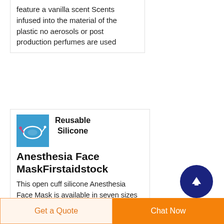feature a vanilla scent Scents infused into the material of the plastic no aerosols or post production perfumes are used
[Figure (photo): Blue product image of silicone anesthesia face mask medical device]
Reusable Silicone Anesthesia Face MaskFirstaidstock
This open cuff silicone Anesthesia Face Mask is available in seven sizes and is designed for use with manual and automatic resuscitators and ventilators on patients The reusable face mask can
[Figure (other): Dark navy blue circular scroll-to-top button with upward arrow icon]
Get a Quote
Chat Now